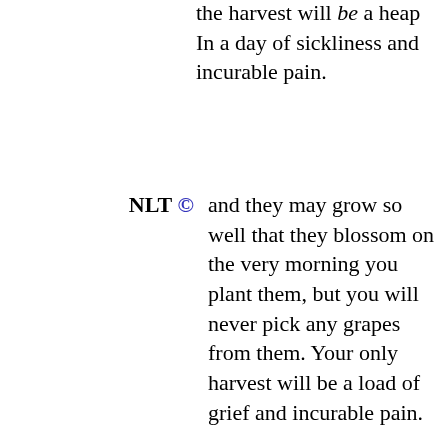the harvest will be a heap In a day of sickliness and incurable pain.
NLT © and they may grow so well that they blossom on the very morning you plant them, but you will never pick any grapes from them. Your only harvest will be a load of grief and incurable pain.
MSG © And even though you make them grow so well, bursting with buds and